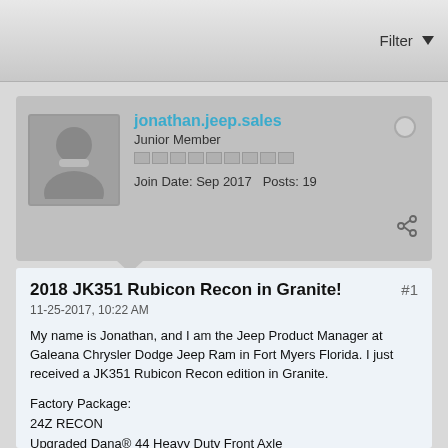Filter
jonathan.jeep.sales
Junior Member
Join Date: Sep 2017   Posts: 19
2018 JK351 Rubicon Recon in Granite!
#1
11-25-2017, 10:22 AM
My name is Jonathan, and I am the Jeep Product Manager at Galeana Chrysler Dodge Jeep Ram in Fort Myers Florida. I just received a JK351 Rubicon Recon edition in Granite.
Factory Package:
24Z RECON
Upgraded Dana® 44 Heavy Duty Front Axle
Dana® 44 Heavy Duty Rear Axle with Cast Cover
Steel Rear Bumper
HD Rock Rails with Step Pad
Red Rear Tow Hooks
Jeep Trail Rated Kit
Power Dome Hood
Air Conditioning with Automatic Temperature Control
Recon Style Grill "Rubicon Recon" Badge